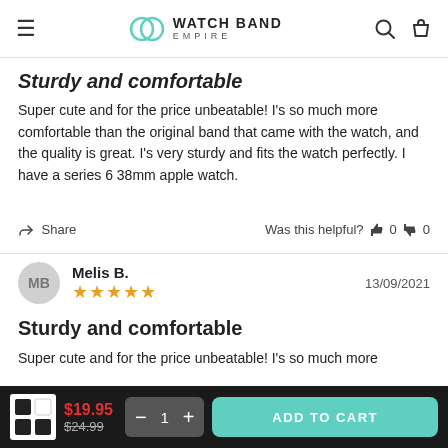Watch Band Empire
Sturdy and comfortable
Super cute and for the price unbeatable! I's so much more comfortable than the original band that came with the watch, and the quality is great. I's very sturdy and fits the watch perfectly. I have a series 6 38mm apple watch.
Share | Was this helpful? 0 0
Melis B. | 13/09/2021 | ★★★★★
Sturdy and comfortable
Super cute and for the price unbeatable! I's so much more comfortable than the original band that came with the watch,
$19.95 $24.99 — 1 + ADD TO CART